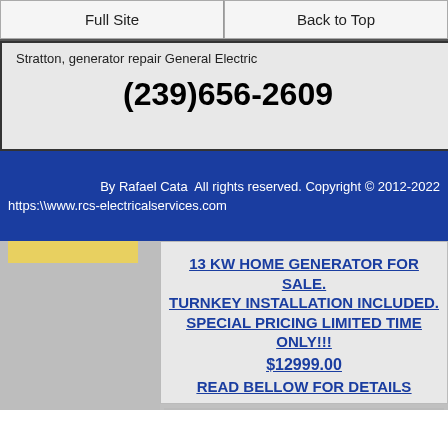Full Site | Back to Top
Stratton, generator repair General Electric
(239)656-2609
By Rafael Cata  All rights reserved. Copyright © 2012-2022
https:\www.rcs-electricalservices.com
[Figure (photo): Image area placeholder with yellow bar on left side]
13 KW HOME GENERATOR FOR SALE. TURNKEY INSTALLATION INCLUDED. SPECIAL PRICING LIMITED TIME ONLY!!! $12999.00 READ BELLOW FOR DETAILS
[Figure (photo): Generator product image placeholder]